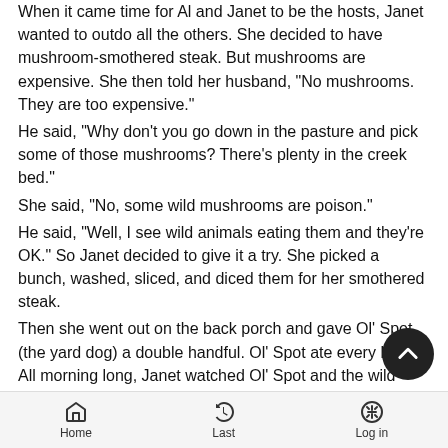When it came time for Al and Janet to be the hosts, Janet wanted to outdo all the others. She decided to have mushroom-smothered steak. But mushrooms are expensive. She then told her husband, "No mushrooms. They are too expensive."
He said, "Why don't you go down in the pasture and pick some of those mushrooms? There's plenty in the creek bed."
She said, "No, some wild mushrooms are poison."
He said, "Well, I see wild animals eating them and they're OK." So Janet decided to give it a try. She picked a bunch, washed, sliced, and diced them for her smothered steak.
Then she went out on the back porch and gave Ol' Spot (the yard dog) a double handful. Ol' Spot ate every bite. All morning long, Janet watched Ol' Spot and the wild mushrooms didn't seem to affect him, so she decided to use them. The meal was a great success, and Janet even hired a helper lady from town to help her serve. After everyone had finished, they relaxed, socialized, and played '42' and dominoes. About then, the helper lady came in and whispered in Janet's ear.
Home  Last  Log in